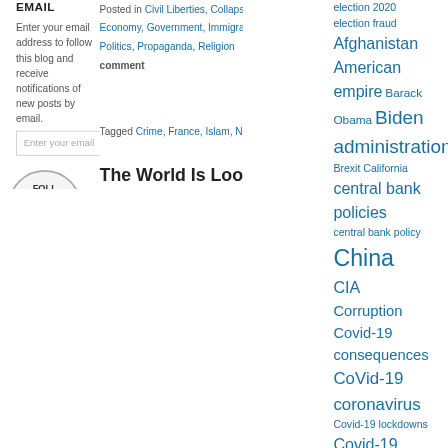EMAIL
Enter your email address to follow this blog and receive notifications of new posts by email.
Enter your email
[Figure (illustration): Circle button with text FOLLOW BLOG VIA EMAIL]
Join 1,938 other followers
Follow STRA
RECENT
Posted in Civil Liberties, Collapse, Crime, Economy, Government, Immigration, Labor, Law, Politics, Propaganda, Religion    Leave a comment
Tagged Crime, France, Islam, No-go zones
The World Is Looking At You, by Batiushka
Posted on June 16, 2022 | Leave a comment
Is Russia the last great hope for civilization? From Batiushka at thesaker.is:
A huge and historic injustice took place in Europe in 1914, which...
election 2020 election fraud Afghanistan American empire Barack Obama Biden administration Brexit California central bank policies central bank policy China CIA Corruption Covid-19 consequences CoVid-19 coronavirus Covid-19 lockdowns Covid-19 response Covid-19